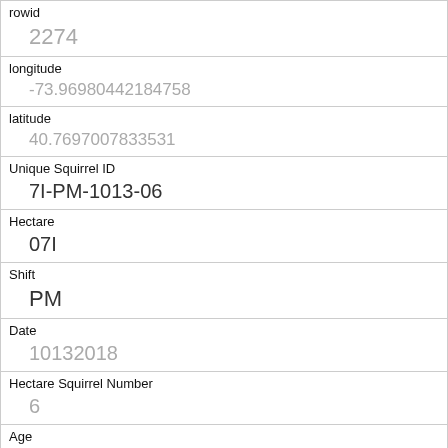| Field | Value |
| --- | --- |
| rowid | 2274 |
| longitude | -73.96980442184758 |
| latitude | 40.7697007833531 |
| Unique Squirrel ID | 7I-PM-1013-06 |
| Hectare | 07I |
| Shift | PM |
| Date | 10132018 |
| Hectare Squirrel Number | 6 |
| Age | Adult |
| Primary Fur Color | Cinnamon |
| Highlight Fur Color |  |